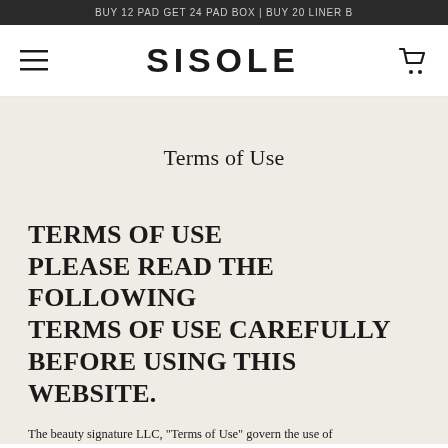BUY 12 PAD GET 24 PAD BOX | BUY 20 LINER B
[Figure (logo): SISOLE brand logo with hamburger menu icon on left and cart icon on right]
Terms of Use
TERMS OF USE
PLEASE READ THE FOLLOWING TERMS OF USE CAREFULLY BEFORE USING THIS WEBSITE.
The beauty signature LLC, "Terms of Use" govern the use of